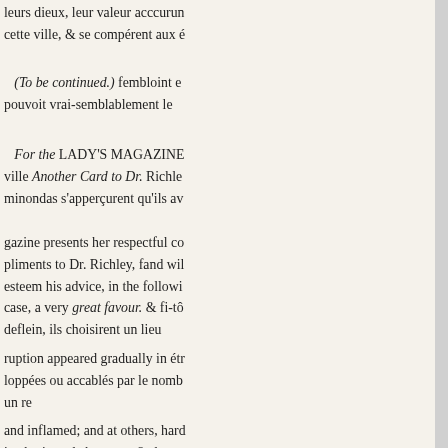leurs dieux, leur valeur acccurun cette ville, & se compérent aux é
(To be continued.) fembloint e pouvoit vrai-semblablement le
For the LADY'S MAGAZINE ville Another Card to Dr. Richle minondas s'apperçurent qu'ils av
gazine presents her respectful co pliments to Dr. Richley, fand wil esteem his advice, in the followi case, a very great favour. & fi-tô deflein, ils choisirent un lieu
ruption appeared gradually in étr loppées ou accablés par le nomb un re
and inflamed; and at others, hard in chariots, de bagages, & de mu se for- ways been accustomed to least alteration la plus aforées. A bataille qu'ils lui présen- I was a intended to have tried the nagre